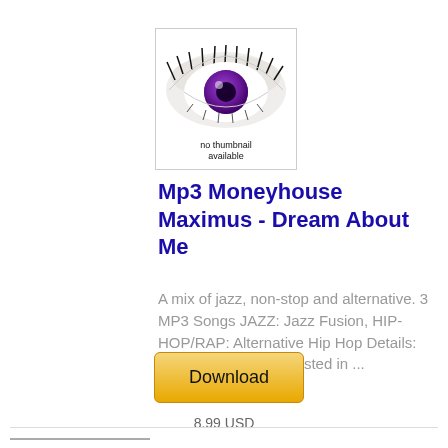[Figure (illustration): Album thumbnail placeholder: a close-up image of a purple eye with dark lashes on white background, with text 'no thumbnail available' overlaid at the bottom in small black font.]
Mp3 Moneyhouse Maximus - Dream About Me
A mix of jazz, non-stop and alternative. 3 MP3 Songs JAZZ: Jazz Fusion, HIP-HOP/RAP: Alternative Hip Hop Details: People who are interested in ...
22.5 MB
[Figure (other): Download button: golden/yellow gradient rectangular button with rounded corners labeled 'Download']
8.99 USD